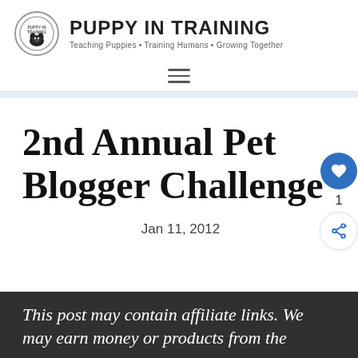PUPPY IN TRAINING — Teaching Puppies • Training Humans • Growing Together
[Figure (logo): Puppy In Training circular logo with dog silhouette]
2nd Annual Pet Blogger Challenge
Jan 11, 2012
This post may contain affiliate links. We may earn money or products from the